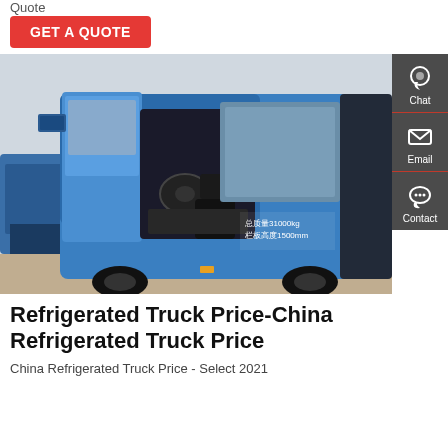Quote
GET A QUOTE
[Figure (photo): Blue truck cab with door open showing interior, viewed from the front-left side. Chinese text on the side panel reads: 总质量31000kg, 栏板高度1500mm. Similar blue trucks visible in background.]
Refrigerated Truck Price-China Refrigerated Truck Price
China Refrigerated Truck Price - Select 2021